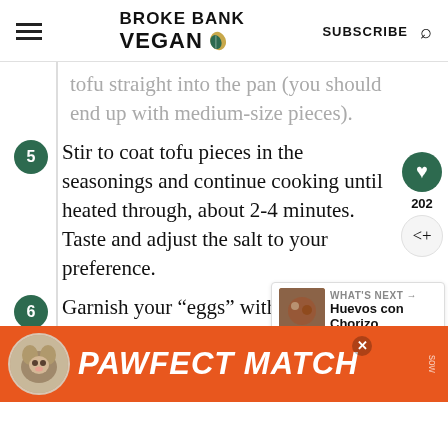BROKE BANK VEGAN | SUBSCRIBE
tofu straight into the pan (you should end up with medium-size pieces).
5. Stir to coat tofu pieces in the seasonings and continue cooking until heated through, about 2-4 minutes. Taste and adjust the salt to your preference.
6. Garnish your “eggs” with chopped cilantro and fresh serrano slices. For a heartier
[Figure (other): PAWFECT MATCH advertisement banner with cat image]
WHAT'S NEXT → Huevos con Chorizo